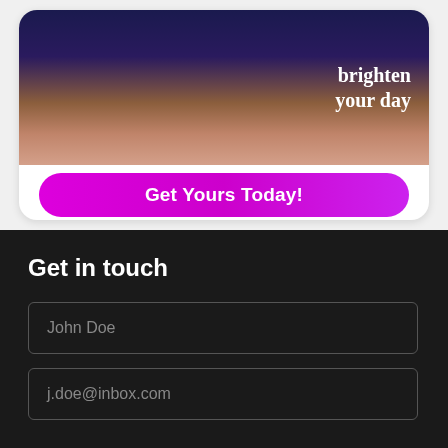[Figure (screenshot): Advertisement card showing book/journal products against a dark purple night sky background with text 'brighten your day' in gold and white, with a magenta 'Get Yours Today!' button below]
Get in touch
John Doe
j.doe@inbox.com